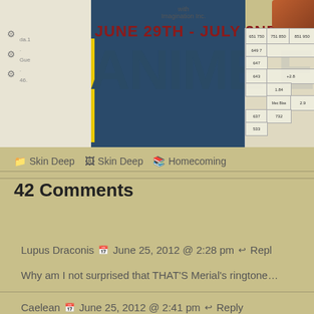[Figure (illustration): Anime Expo convention banner showing 'JUNE 29TH - JULY 2ND' in dark red and 'ANIME EXE' in large dark blue letters on a blue background, with floor plan numbers overlaid on the right side, and decorative elements on the left]
📁 Skin Deep   🖼 Skin Deep   📚 Homecoming
42 Comments
Lupus Draconis   📅 June 25, 2012 @ 2:28 pm   ↩ Reply
Why am I not surprised that THAT'S Merial's ringtone…
Caelean   📅 June 25, 2012 @ 2:41 pm   ↩ Reply